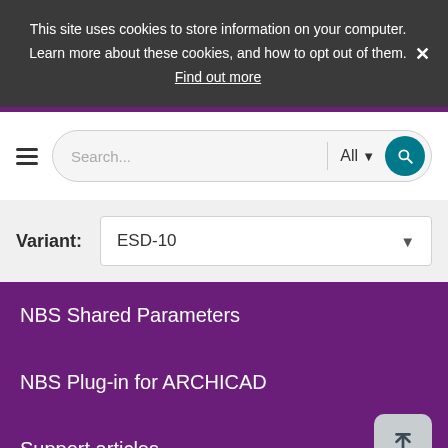This site uses cookies to store information on your computer. Learn more about these cookies, and how to opt out of them. Find out more
[Figure (screenshot): Search bar with hamburger menu, text input field with placeholder 'Search...', dropdown labeled 'All' with arrow, and teal circular search button]
Variant: ESD-10
NBS Shared Parameters
NBS Plug-in for ARCHICAD
Support articles
Submit a support ticket